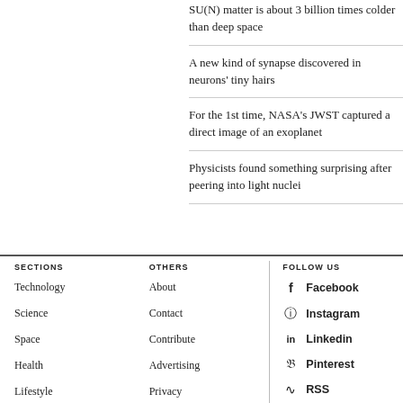SU(N) matter is about 3 billion times colder than deep space
A new kind of synapse discovered in neurons' tiny hairs
For the 1st time, NASA's JWST captured a direct image of an exoplanet
Physicists found something surprising after peering into light nuclei
SECTIONS
Technology
Science
Space
Health
Lifestyle
OTHERS
About
Contact
Contribute
Advertising
Privacy
FOLLOW US
Facebook
Instagram
Linkedin
Pinterest
RSS